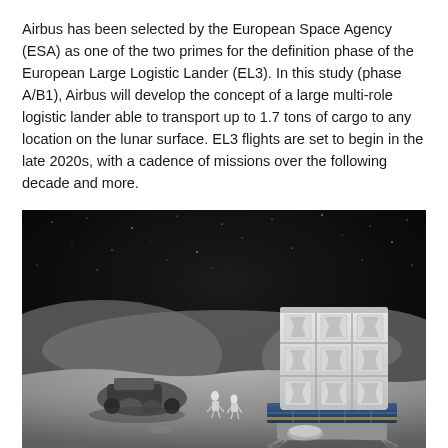Airbus has been selected by the European Space Agency (ESA) as one of the two primes for the definition phase of the European Large Logistic Lander (EL3). In this study (phase A/B1), Airbus will develop the concept of a large multi-role logistic lander able to transport up to 1.7 tons of cargo to any location on the lunar surface. EL3 flights are set to begin in the late 2020s, with a cadence of missions over the following decade and more.
[Figure (illustration): Artistic rendering of the European Large Logistic Lander (EL3) on the lunar surface at night. A large white modular cargo lander with solar panels is in the foreground right. Astronauts in spacesuits stand nearby. Another spacecraft and rover are visible on the left. The background shows the lunar horizon and a star-filled black sky.]